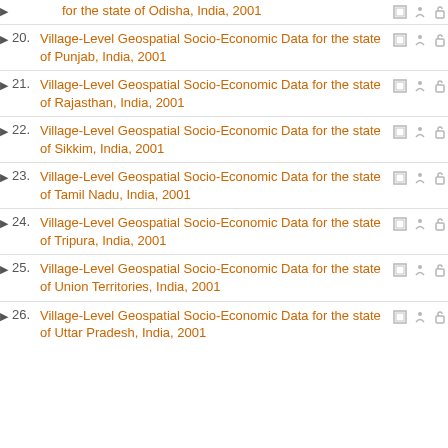Village-Level Geospatial Socio-Economic Data for the state of Odisha, India, 2001
20. Village-Level Geospatial Socio-Economic Data for the state of Punjab, India, 2001
21. Village-Level Geospatial Socio-Economic Data for the state of Rajasthan, India, 2001
22. Village-Level Geospatial Socio-Economic Data for the state of Sikkim, India, 2001
23. Village-Level Geospatial Socio-Economic Data for the state of Tamil Nadu, India, 2001
24. Village-Level Geospatial Socio-Economic Data for the state of Tripura, India, 2001
25. Village-Level Geospatial Socio-Economic Data for the state of Union Territories, India, 2001
26. Village-Level Geospatial Socio-Economic Data for the state of Uttar Pradesh, India, 2001